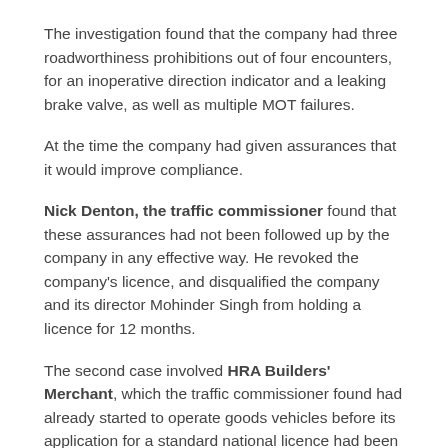The investigation found that the company had three roadworthiness prohibitions out of four encounters, for an inoperative direction indicator and a leaking brake valve, as well as multiple MOT failures.
At the time the company had given assurances that it would improve compliance.
Nick Denton, the traffic commissioner found that these assurances had not been followed up by the company in any effective way. He revoked the company's licence, and disqualified the company and its director Mohinder Singh from holding a licence for 12 months.
The second case involved HRA Builders' Merchant, which the traffic commissioner found had already started to operate goods vehicles before its application for a standard national licence had been granted in September 2021.
The public inquiry heard that the company failed to